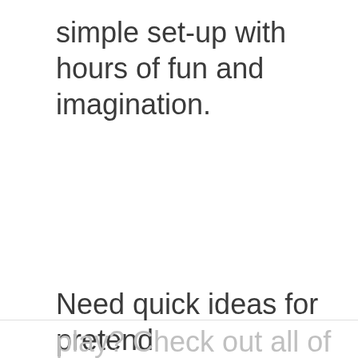simple set-up with hours of fun and imagination.
Need quick ideas for pretend play? Check out all of our